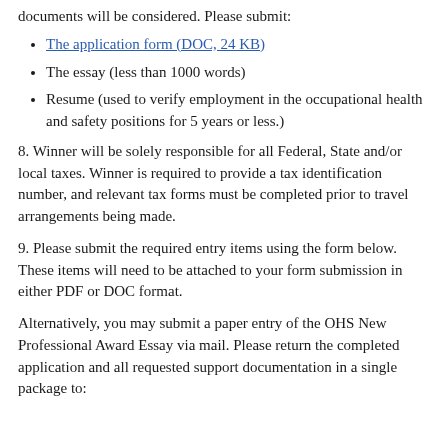documents will be considered. Please submit:
The application form (DOC, 24 KB)
The essay (less than 1000 words)
Resume (used to verify employment in the occupational health and safety positions for 5 years or less.)
8. Winner will be solely responsible for all Federal, State and/or local taxes. Winner is required to provide a tax identification number, and relevant tax forms must be completed prior to travel arrangements being made.
9. Please submit the required entry items using the form below. These items will need to be attached to your form submission in either PDF or DOC format.
Alternatively, you may submit a paper entry of the OHS New Professional Award Essay via mail. Please return the completed application and all requested support documentation in a single package to: